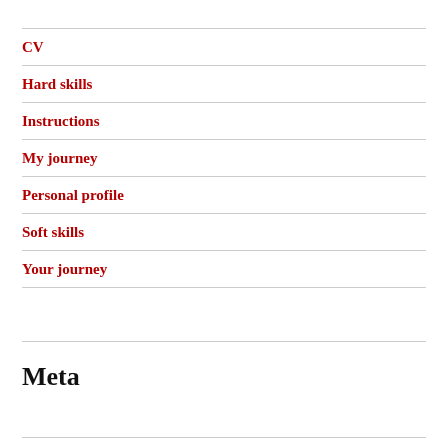CV
Hard skills
Instructions
My journey
Personal profile
Soft skills
Your journey
Meta